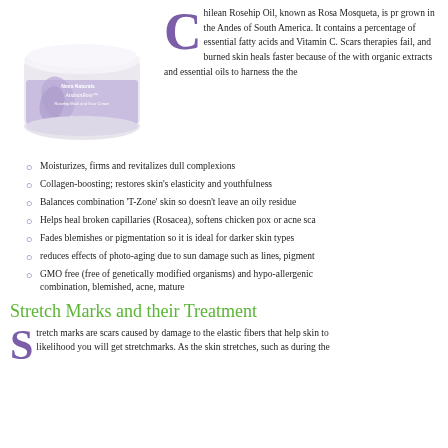[Figure (photo): Product jar of AndeanRose Rosehip Mark and Scar Cream with light purple label]
Chilean Rosehip Oil, known as Rosa Mosqueta, is pr... grown in the Andes of South America. It contains a percentage of essential fatty acids and Vitamin C. Scars therapies fail, and burned skin heals faster because of the with organic extracts and essential oils to harness the the
Moisturizes, firms and revitalizes dull complexions
Collagen-boosting; restores skin's elasticity and youthfulness
Balances combination 'T-Zone' skin so doesn't leave an oily residue
Helps heal broken capillaries (Rosacea), softens chicken pox or acne sca
Fades blemishes or pigmentation so it is ideal for darker skin types
reduces effects of photo-aging due to sun damage such as lines, pigment
GMO free (free of genetically modified organisms) and hypo-allergenic combination, blemished, acne, mature
Stretch Marks and their Treatment
Stretch marks are scars caused by damage to the elastic fibers that help skin to likelihood you will get stretchmarks. As the skin stretches, such as during the